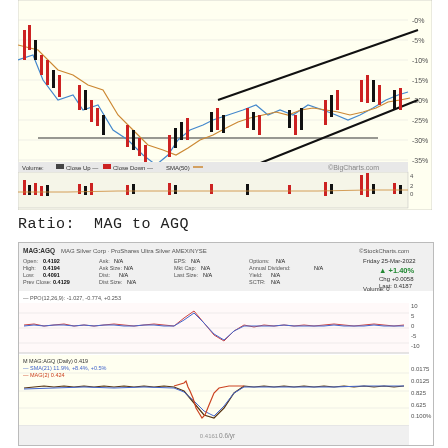[Figure (continuous-plot): Stock price candlestick chart with moving averages (blue, orange lines), volume bars at bottom (red/black bars), and diagonal trend lines drawn on price chart. X-axis shows months Jul through Apr. Y-axis shows price values from approximately -428 to -5. Legend: Volume, Close Up, Close Down, SMA(50). Source: CBigCharts.com]
Ratio:  MAG to AGQ
[Figure (continuous-plot): MAG:AGQ ratio chart from StockCharts.com. Shows MAG Silver Corp / ProShares Ultra Silver (AMEX/NYSE). Header data: Open 0.4192, High 0.4194, Low 0.4091, Prev Close 0.4129. Ask: N/A, Ask Size: N/A, Dist: N/A, Dist Size: N/A, EPS: N/A, Mkt Cap: N/A, Last Size: N/A, Options: N/A, Annual Dividend: N/A, Yield: N/A, SCTR: N/A. Friday 25-Mar-2022. +1.40%, Chg +0.0058, Last: 0.4187, Volume: 0. PPO(12,26,9): -1.027, -0.774, +0.253. M MAG:AGQ (Daily) 0.419. SMA(21) 11.9%, +8.4%, +0.5%. MAG(2) 0.424. Bottom of chart shows price scale approximately -10 to 10 for PPO and 0.025 to 0.835 for price. Chart shows oscillating ratio line with significant dip around February and recovery.]